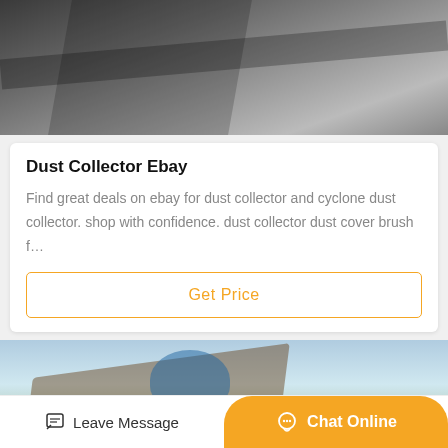[Figure (photo): Industrial conveyor belt machinery, dark metallic equipment viewed from above/side angle]
Dust Collector Ebay
Find great deals on ebay for dust collector and cyclone dust collector. shop with confidence. dust collector dust cover brush f…
Get Price
[Figure (photo): Outdoor industrial conveyor belt structures and machinery on construction site, blue sky background]
Leave Message
Chat Online